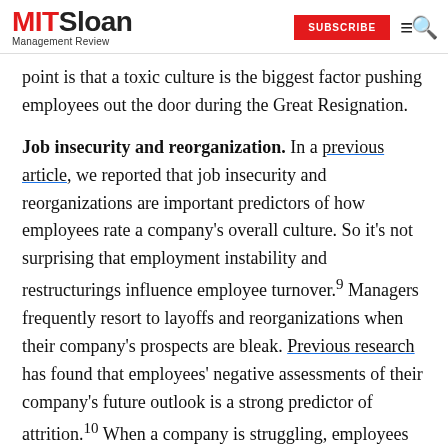MIT Sloan Management Review | SUBSCRIBE
point is that a toxic culture is the biggest factor pushing employees out the door during the Great Resignation.
Job insecurity and reorganization. In a previous article, we reported that job insecurity and reorganizations are important predictors of how employees rate a company's overall culture. So it's not surprising that employment instability and restructurings influence employee turnover.9 Managers frequently resort to layoffs and reorganizations when their company's prospects are bleak. Previous research has found that employees' negative assessments of their company's future outlook is a strong predictor of attrition.10 When a company is struggling, employees are more likely to jump ship in search of more job security and professional